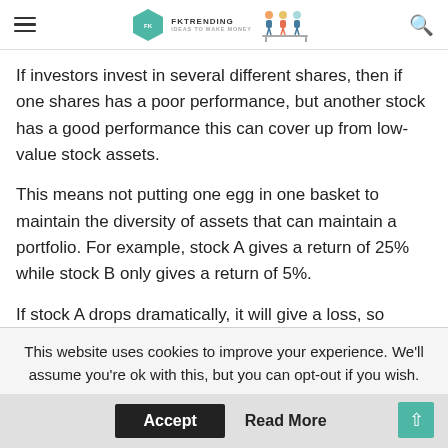FKTRENDING IDEAS TO MAKE MONEY
If investors invest in several different shares, then if one shares has a poor performance, but another stock has a good performance this can cover up from low-value stock assets.
This means not putting one egg in one basket to maintain the diversity of assets that can maintain a portfolio. For example, stock A gives a return of 25% while stock B only gives a return of 5%.
If stock A drops dramatically, it will give a loss, so
This website uses cookies to improve your experience. We'll assume you're ok with this, but you can opt-out if you wish.